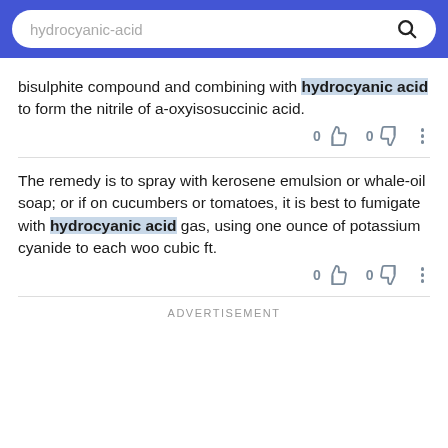hydrocyanic-acid [search bar]
bisulphite compound and combining with hydrocyanic acid to form the nitrile of a-oxyisosuccinic acid.
The remedy is to spray with kerosene emulsion or whale-oil soap; or if on cucumbers or tomatoes, it is best to fumigate with hydrocyanic acid gas, using one ounce of potassium cyanide to each woo cubic ft.
ADVERTISEMENT